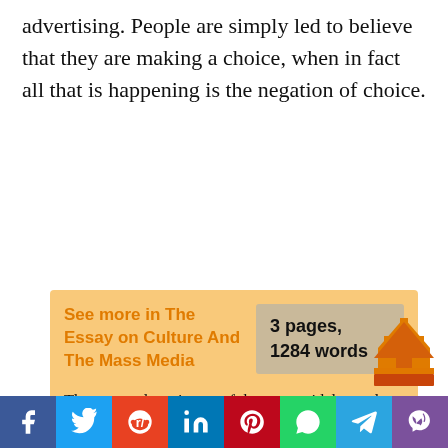advertising. People are simply led to believe that they are making a choice, when in fact all that is happening is the negation of choice.
See more in The Essay on Culture And The Mass Media
3 pages, 1284 words
The term culture is one of the most widely used terms in modern language. Discuss the key debates surrounding different interpretations of the term and the relevance of these debates to analysing the mass media. What was once a celebrated
Facebook Twitter Reddit LinkedIn Pinterest WhatsApp Telegram Viber